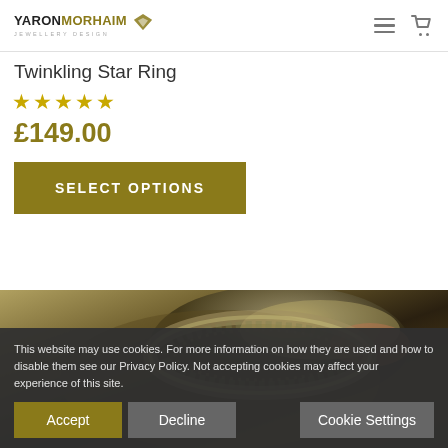YARON MORHAIM JEWELLERY DESIGN
Twinkling Star Ring
★★★★★
£149.00
SELECT OPTIONS
[Figure (photo): Close-up photograph of a decorative silver ring with intricate engraved pattern, shown against a dark background with a finger visible]
This website may use cookies. For more information on how they are used and how to disable them see our Privacy Policy. Not accepting cookies may affect your experience of this site.
Accept   Decline   Cookie Settings